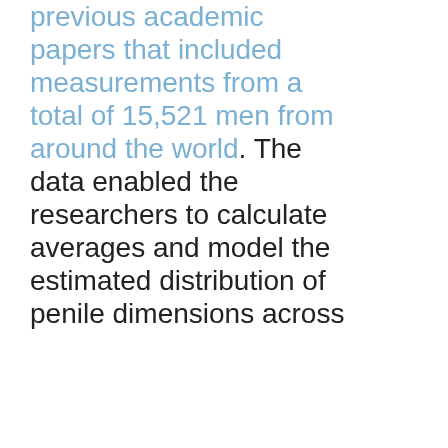previous academic papers that included measurements from a total of 15,521 men from around the world. The data enabled the researchers to calculate averages and model the estimated distribution of penile dimensions across